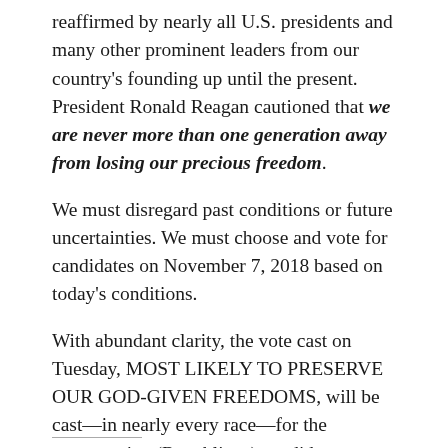reaffirmed by nearly all U.S. presidents and many other prominent leaders from our country's founding up until the present. President Ronald Reagan cautioned that we are never more than one generation away from losing our precious freedom.
We must disregard past conditions or future uncertainties. We must choose and vote for candidates on November 7, 2018 based on today's conditions.
With abundant clarity, the vote cast on Tuesday, MOST LIKELY TO PRESERVE OUR GOD-GIVEN FREEDOMS, will be cast—in nearly every race—for the conservative (Republican) candidate.